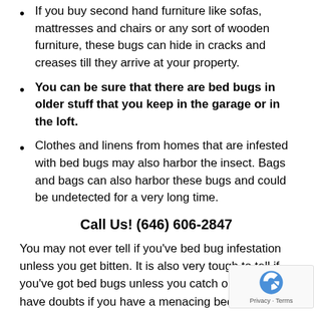If you buy second hand furniture like sofas, mattresses and chairs or any sort of wooden furniture, these bugs can hide in cracks and creases till they arrive at your property.
You can be sure that there are bed bugs in older stuff that you keep in the garage or in the loft.
Clothes and linens from homes that are infested with bed bugs may also harbor the insect. Bags and bags can also harbor these bugs and could be undetected for a very long time.
Call Us! (646) 606-2847
You may not ever tell if you've bed bug infestation unless you get bitten. It is also very tough to tell if you've got bed bugs unless you catch one. If you have doubts if you have a menacing bed bug infestation in home, take note of these signs and then telephone Bed Bug Exterminator NYC: